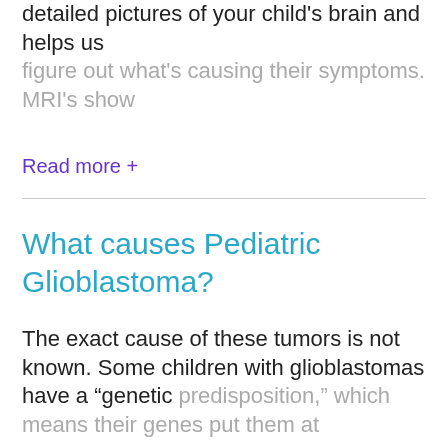detailed pictures of your child's brain and helps us
figure out what's causing their symptoms. MRI's show
Read more +
What causes Pediatric Glioblastoma?
The exact cause of these tumors is not known. Some children with glioblastomas have a “genetic predisposition,” which means their genes put them at
Read more +
How is Pediatric Glioblastoma treated?